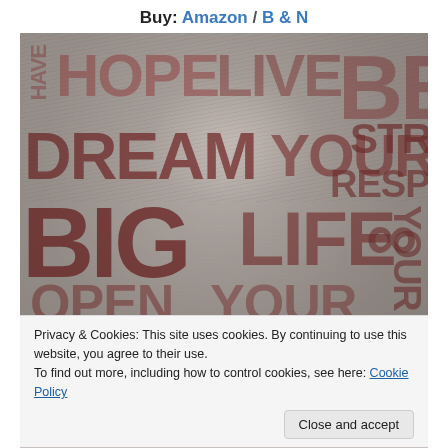Buy: Amazon / B & N
[Figure (illustration): Book cover with motivational word art (HOPE, LIVE, BE, DREAM, YOUR, STRONG, RESPECT, BIG, LIFE, OPEN YOUR) overlaid on a grayscale face portrait]
Privacy & Cookies: This site uses cookies. By continuing to use this website, you agree to their use.
To find out more, including how to control cookies, see here: Cookie Policy
Close and accept
by alison g. bailey